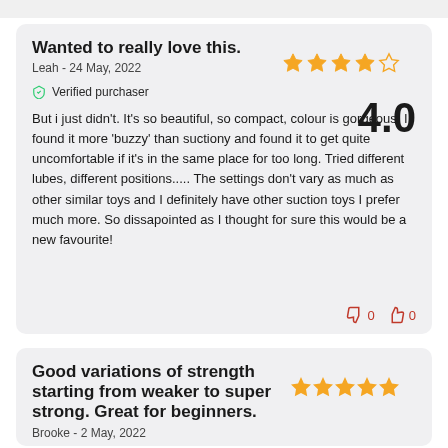Wanted to really love this.
Leah - 24 May, 2022
Verified purchaser
4.0
But i just didn't. It's so beautiful, so compact, colour is gorgeous. I found it more 'buzzy' than suctiony and found it to get quite uncomfortable if it's in the same place for too long. Tried different lubes, different positions..... The settings don't vary as much as other similar toys and I definitely have other suction toys I prefer much more. So dissapointed as I thought for sure this would be a new favourite!
Good variations of strength starting from weaker to super strong. Great for beginners.
Brooke - 2 May, 2022